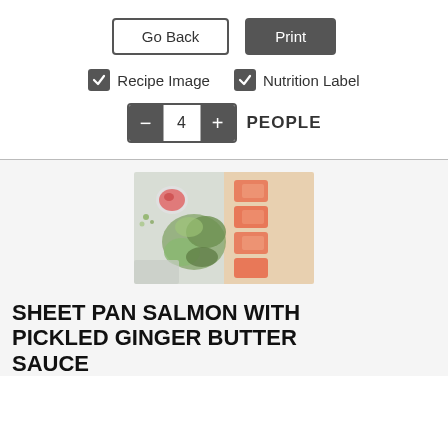[Figure (screenshot): Go Back and Print buttons side by side]
Recipe Image  Nutrition Label (both checked)
− 4 + PEOPLE
[Figure (photo): Sheet pan salmon with bok choy and a small bowl of pickled ginger sauce, overhead food photography]
SHEET PAN SALMON WITH PICKLED GINGER BUTTER SAUCE